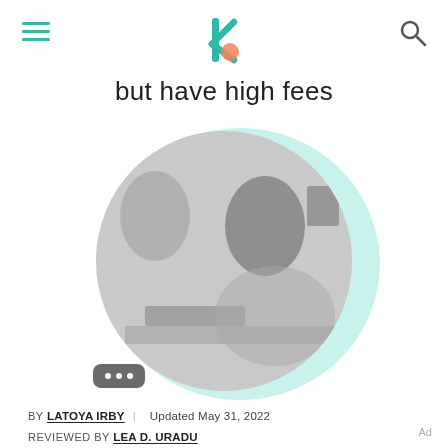[Logo: Investopedia-style k icon] [Hamburger menu] [Search icon]
but have high fees
[Figure (photo): Black and white photo of a young woman with hair in a ponytail, wearing glasses, looking at a smartphone while seated at a desk with a laptop. The image is cropped in a circular/arch shape with a light teal circular background.]
BY LATOYA IRBY | Updated May 31, 2022
REVIEWED BY LEA D. URADU
FACT CHECKED BY VIKKI VELASQUEZ
If you have an outstanding tax bill, you may consider